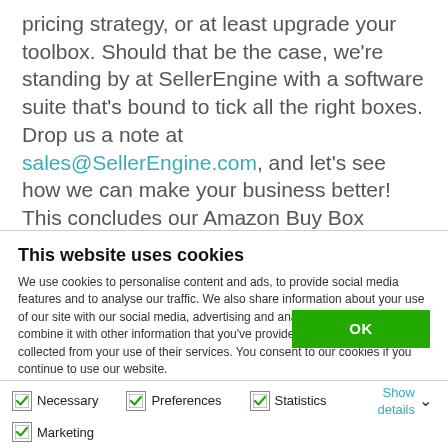pricing strategy, or at least upgrade your toolbox. Should that be the case, we're standing by at SellerEngine with a software suite that's bound to tick all the right boxes. Drop us a note at sales@SellerEngine.com, and let's see how we can make your business better! This concludes our Amazon Buy Box series, but we hope to be able to bring similar material for
This website uses cookies
We use cookies to personalise content and ads, to provide social media features and to analyse our traffic. We also share information about your use of our site with our social media, advertising and analytics partners who may combine it with other information that you've provided to them or that they've collected from your use of their services. You consent to our cookies if you continue to use our website.